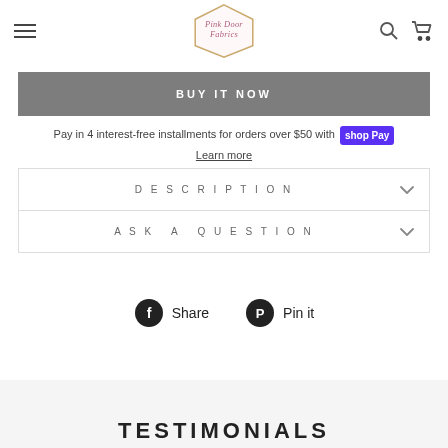Pink Door Fabrics
BUY IT NOW
Pay in 4 interest-free installments for orders over $50 with shop Pay
Learn more
DESCRIPTION
ASK A QUESTION
Share  Pin it
TESTIMONIALS